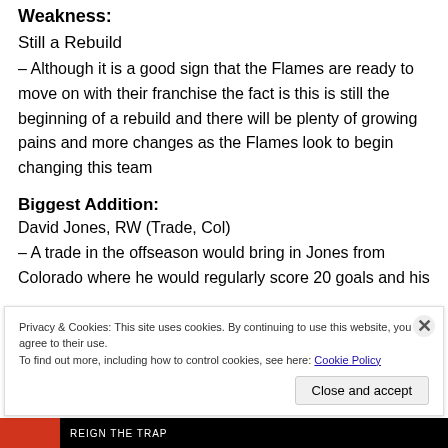Weakness:
Still a Rebuild
– Although it is a good sign that the Flames are ready to move on with their franchise the fact is this is still the beginning of a rebuild and there will be plenty of growing pains and more changes as the Flames look to begin changing this team
Biggest Addition:
David Jones, RW (Trade, Col)
– A trade in the offseason would bring in Jones from Colorado where he would regularly score 20 goals and his
Privacy & Cookies: This site uses cookies. By continuing to use this website, you agree to their use.
To find out more, including how to control cookies, see here: Cookie Policy